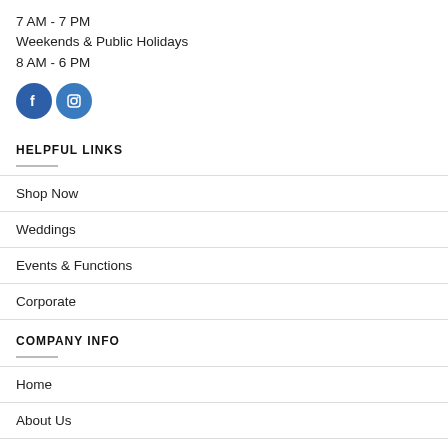7 AM - 7 PM
Weekends & Public Holidays
8 AM - 6 PM
[Figure (illustration): Two social media icon buttons: Facebook (blue circle with 'f') and Instagram (blue circle with camera icon)]
HELPFUL LINKS
Shop Now
Weddings
Events & Functions
Corporate
COMPANY INFO
Home
About Us
Blog